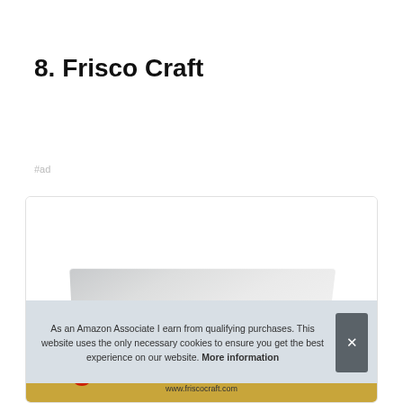8. Frisco Craft
#ad
[Figure (screenshot): Screenshot of a product listing for Frisco Craft website (www.friscocraft.com) showing a product with a folded/curled card visual and a cookie consent banner overlay reading: As an Amazon Associate I earn from qualifying purchases. This website uses the only necessary cookies to ensure you get the best experience on our website. More information]
As an Amazon Associate I earn from qualifying purchases. This website uses the only necessary cookies to ensure you get the best experience on our website. More information